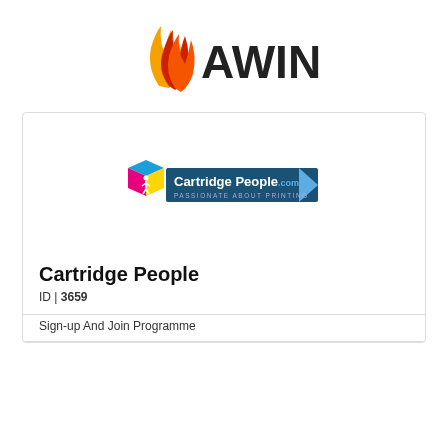[Figure (logo): AWIN logo with flame/fire icon in orange, red and yellow colors followed by the text AWIN in bold dark letters]
[Figure (logo): Cartridge People .com logo with colorful 3D cube icon and blue arrow banner, tagline PASSIONATE ABOUT PRINTING]
Cartridge People
ID | 3659
Sign-up And Join Programme